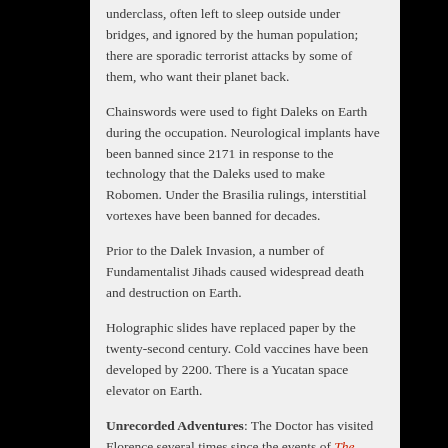underclass, often left to sleep outside under bridges, and ignored by the human population; there are sporadic terrorist attacks by some of them, who want their planet back.
Chainswords were used to fight Daleks on Earth during the occupation. Neurological implants have been banned since 2171 in response to the technology that the Daleks used to make Robomen. Under the Brasilia rulings, interstitial vortexes have been banned for decades.
Prior to the Dalek Invasion, a number of Fundamentalist Jihads caused widespread death and destruction on Earth.
Holographic slides have replaced paper by the twenty-second century. Cold vaccines have been developed by 2200. There is a Yucatan space elevator on Earth.
Unrecorded Adventures: The Doctor has visited Florence several times since the events of The Ancestor Cell; the first time he went there, it was raining.